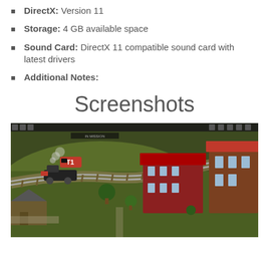DirectX: Version 11
Storage: 4 GB available space
Sound Card: DirectX 11 compatible sound card with latest drivers
Additional Notes:
Screenshots
[Figure (screenshot): Game screenshot showing an isometric view of a train simulation game with a steam locomotive labeled T1 on curved tracks, passing through a Victorian-era town with red-roofed brick buildings, green lawns, and trees.]